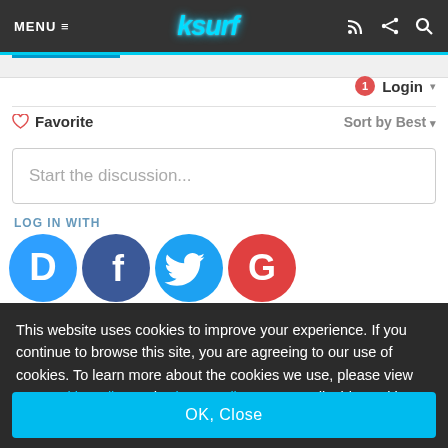MENU ≡  ksurf  (icons: rss, share, search)
1  Login ▾
♡ Favorite   Sort by Best ▾
Start the discussion...
LOG IN WITH
[Figure (logo): Social login icons: Disqus (D), Facebook (f), Twitter bird, Google (G)]
This website uses cookies to improve your experience. If you continue to browse this site, you are agreeing to our use of cookies. To learn more about the cookies we use, please view our Cookie Policy and Privacy Policy. You can disable cookies at any time within your browser settings.
OK, Close